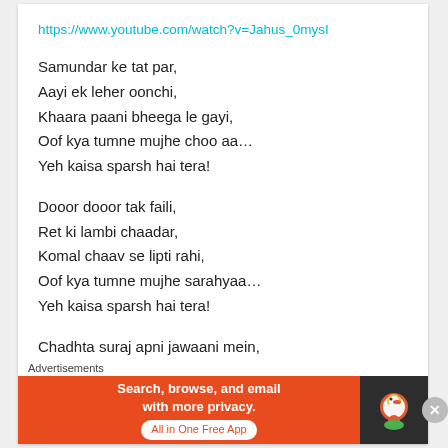https://www.youtube.com/watch?v=Jahus_0mysI
Samundar ke tat par,
Aayi ek leher oonchi,
Khaara paani bheega le gayi,
Oof kya tumne mujhe choo aa…
Yeh kaisa sparsh hai tera!
Dooor dooor tak faili,
Ret ki lambi chaadar,
Komal chaav se lipti rahi,
Oof kya tumne mujhe sarahyaa…
Yeh kaisa sparsh hai tera!
Chadhta suraj apni jawaani mein,
Peeli roshni neele amber mein,
Odh lu kesariya rang chunar ke,
Advertisements
[Figure (screenshot): DuckDuckGo advertisement banner: orange background with text 'Search, browse, and email with more privacy. All in One Free App' and DuckDuckGo logo on dark background.]